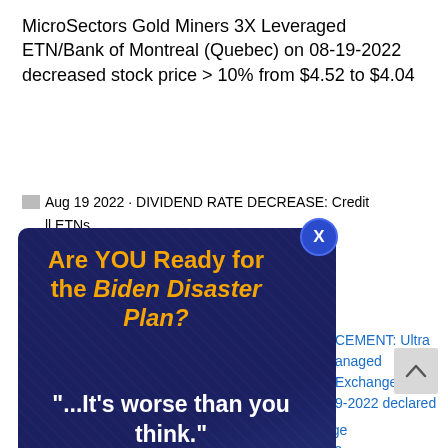MicroSectors Gold Miners 3X Leveraged ETN/Bank of Montreal (Quebec) on 08-19-2022 decreased stock price > 10% from $4.52 to $4.04
Aug 19 2022 · DIVIDEND RATE DECREASE: Credit ... ll ETNs ... ch (NASDAQ: ... d rate > 3% from
[Figure (infographic): Popup advertisement overlay with dark blue background showing 'Are YOU Ready for the Biden Disaster Plan?' headline in orange/yellow bold text, followed by quote '"...It's worse than you think."' in white bold text, attribution '—Dr. Mark Skousen' in white, and a red 'CLICK HERE TO WATCH >' button. An X close button appears in top-right of popup.]
NNOUNCEMENT: Ultra ... anaged Exchange ... 9-2022 declared
Return Bd ETF/Invesco Actively Managed Exchange